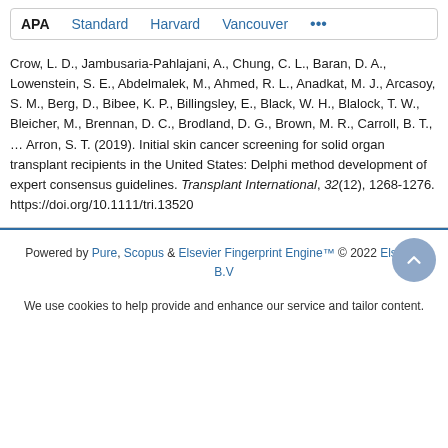APA  Standard  Harvard  Vancouver  ...
Crow, L. D., Jambusaria-Pahlajani, A., Chung, C. L., Baran, D. A., Lowenstein, S. E., Abdelmalek, M., Ahmed, R. L., Anadkat, M. J., Arcasoy, S. M., Berg, D., Bibee, K. P., Billingsley, E., Black, W. H., Blalock, T. W., Bleicher, M., Brennan, D. C., Brodland, D. G., Brown, M. R., Carroll, B. T., ... Arron, S. T. (2019). Initial skin cancer screening for solid organ transplant recipients in the United States: Delphi method development of expert consensus guidelines. Transplant International, 32(12), 1268-1276. https://doi.org/10.1111/tri.13520
Powered by Pure, Scopus & Elsevier Fingerprint Engine™ © 2022 Elsevier B.V
We use cookies to help provide and enhance our service and tailor content.